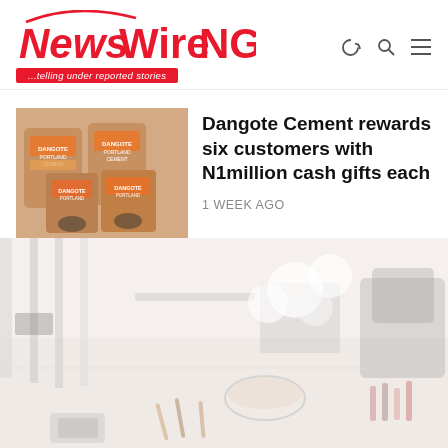[Figure (logo): NewsWireNGR logo with tagline '...telling under reported stories']
Dangote Cement rewards six customers with N1million cash gifts each
1 WEEK AGO
[Figure (photo): Background photo of a beauty/cosmetics workspace with makeup products, glass bowl, desk and office chair, faded/washed out style]